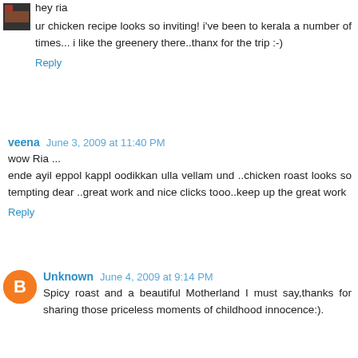hey ria
ur chicken recipe looks so inviting! i've been to kerala a number of times... i like the greenery there..thanx for the trip :-)
Reply
veena June 3, 2009 at 11:40 PM
wow Ria ...
ende ayil eppol kappl oodikkan ulla vellam und ..chicken roast looks so tempting dear ..great work and nice clicks tooo..keep up the great work
Reply
Unknown June 4, 2009 at 9:14 PM
Spicy roast and a beautiful Motherland I must say,thanks for sharing those priceless moments of childhood innocence:).